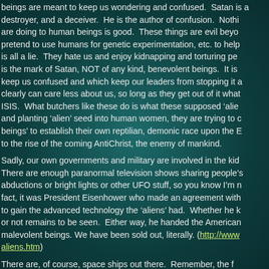beings are meant to keep us wondering and confused. Satan is a destroyer, and a deceiver. He is the author of confusion. Nothing they are doing to human beings is good. These things are evil beyond pretend to use humans for genetic experimentation, etc. to help is all a lie. They hate us and enjoy kidnapping and torturing people is the mark of Satan, NOT of any kind, benevolent beings. It is keep us confused and which keep our leaders from stopping it and clearly can care less about us, so long as they get out of it what ISIS. What butchers like these do is what these supposed 'aliens' and planting 'alien' seed into human women, they are trying to create beings' to establish their own reptilian, demonic race upon the Earth to the rise of the coming AntiChrist, the enemy of mankind.
Sadly, our own governments and military are involved in the kidnapping. There are enough paranormal television shows sharing people's abductions or bright lights or other UFO stuff, so you know I'm not making it up. In fact, it was President Eisenhower who made an agreement with the 'aliens' to gain the advanced technology the 'aliens' had. Whether he knew or not remains to be seen. Either way, he handed the Americans over to malevolent beings. We have been sold out, literally. (http://www.aliens.htm)
There are, of course, space ships out there. Remember, the f